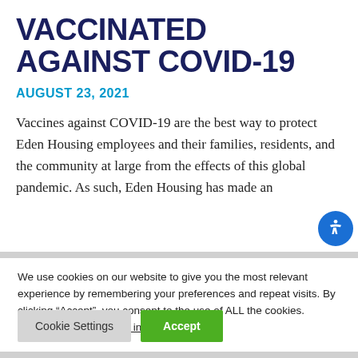VACCINATED AGAINST COVID-19
AUGUST 23, 2021
Vaccines against COVID-19 are the best way to protect Eden Housing employees and their families, residents, and the community at large from the effects of this global pandemic. As such, Eden Housing has made an
We use cookies on our website to give you the most relevant experience by remembering your preferences and repeat visits. By clicking “Accept”, you consent to the use of ALL the cookies. Do not sell my personal information.
Cookie Settings   Accept